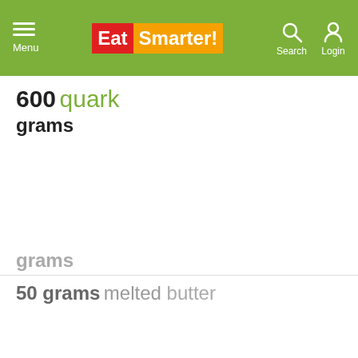EatSmarter! — Menu, Search, Login header
600 quark grams
100 sugar grams
50 grams melted butter